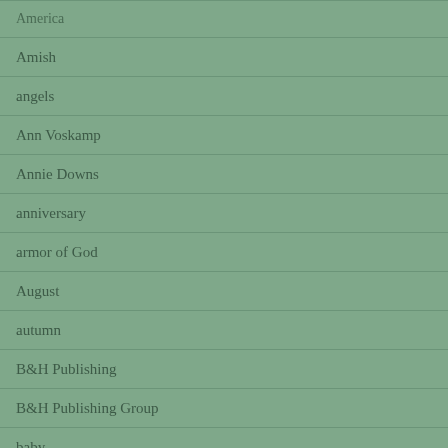America
Amish
angels
Ann Voskamp
Annie Downs
anniversary
armor of God
August
autumn
B&H Publishing
B&H Publishing Group
baby